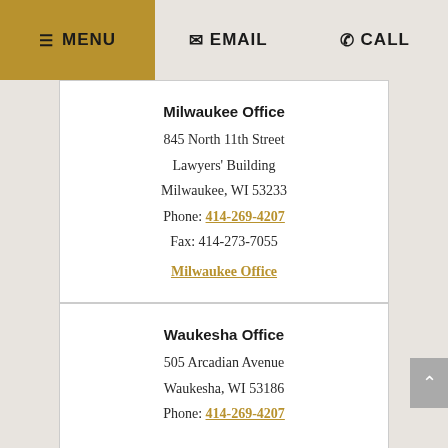≡ MENU  ✉ EMAIL  ☎ CALL
Milwaukee Office
845 North 11th Street
Lawyers' Building
Milwaukee, WI 53233
Phone: 414-269-4207
Fax: 414-273-7055
Milwaukee Office
Waukesha Office
505 Arcadian Avenue
Waukesha, WI 53186
Phone: 414-269-4207